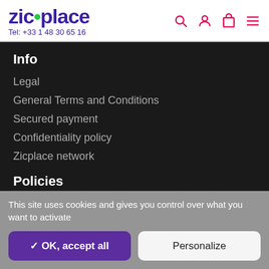zic•place Tel: +33 1 48 30 65 16
Info
Legal
General Terms and Conditions
Secured payment
Confidentiality policy
Zicplace network
Policies
Sell used instruments
This site uses cookies and gives you control over what you want to activate
✓ OK, accept all | Personalize